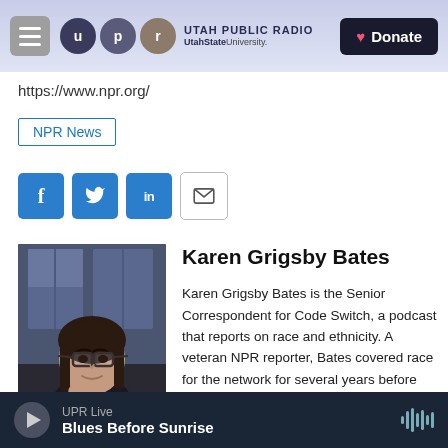Utah Public Radio – UtahStateUniversity. | Donate
https://www.npr.org/
NPR News
[Figure (other): Social sharing buttons: Facebook, Twitter, LinkedIn, Email]
[Figure (photo): Headshot photo of Karen Grigsby Bates]
Karen Grigsby Bates
Karen Grigsby Bates is the Senior Correspondent for Code Switch, a podcast that reports on race and ethnicity. A veteran NPR reporter, Bates covered race for the network for several years before
UPR Live – Blues Before Sunrise